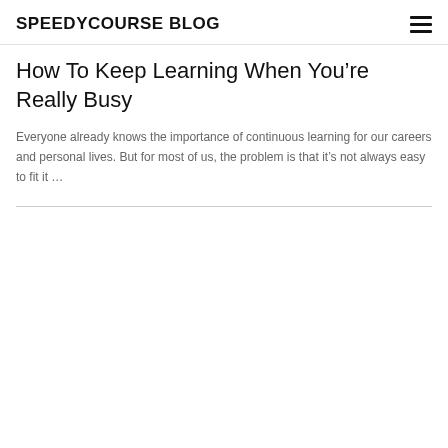SPEEDYCOURSE BLOG
How To Keep Learning When You’re Really Busy
Everyone already knows the importance of continuous learning for our careers and personal lives. But for most of us, the problem is that it’s not always easy to fit it …